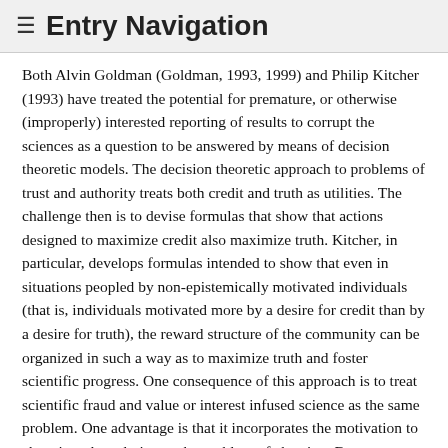≡ Entry Navigation
Both Alvin Goldman (Goldman, 1993, 1999) and Philip Kitcher (1993) have treated the potential for premature, or otherwise (improperly) interested reporting of results to corrupt the sciences as a question to be answered by means of decision theoretic models. The decision theoretic approach to problems of trust and authority treats both credit and truth as utilities. The challenge then is to devise formulas that show that actions designed to maximize credit also maximize truth. Kitcher, in particular, develops formulas intended to show that even in situations peopled by non-epistemically motivated individuals (that is, individuals motivated more by a desire for credit than by a desire for truth), the reward structure of the community can be organized in such a way as to maximize truth and foster scientific progress. One consequence of this approach is to treat scientific fraud and value or interest infused science as the same problem. One advantage is that it incorporates the motivation to cheat into the solution to the problem of cheating. But one may wonder how effective this solution